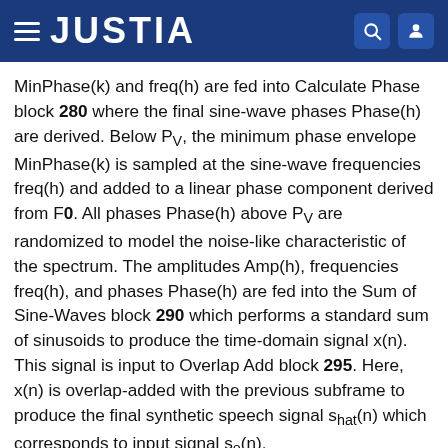JUSTIA
MinPhase(k) and freq(h) are fed into Calculate Phase block 280 where the final sine-wave phases Phase(h) are derived. Below P_V, the minimum phase envelope MinPhase(k) is sampled at the sine-wave frequencies freq(h) and added to a linear phase component derived from F0. All phases Phase(h) above P_V are randomized to model the noise-like characteristic of the spectrum. The amplitudes Amp(h), frequencies freq(h), and phases Phase(h) are fed into the Sum of Sine-Waves block 290 which performs a standard sum of sinusoids to produce the time-domain signal x(n). This signal is input to Overlap Add block 295. Here, x(n) is overlap-added with the previous subframe to produce the final synthetic speech signal s_hat(n) which corresponds to input signal s_o(n).
II. Detailed Description of Harmonic Encoder